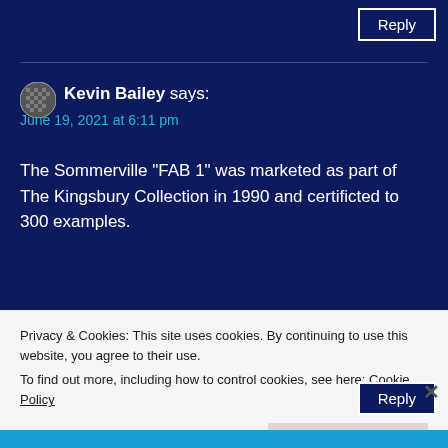Reply
Kevin Bailey says:
June 19, 2021 at 6:11 pm
The Sommerville "FAB 1" was marketed as part of The Kingsbury Collection in 1990 and certificted to 300 examples.
★ Like
Reply
Privacy & Cookies: This site uses cookies. By continuing to use this website, you agree to their use.
To find out more, including how to control cookies, see here: Cookie Policy
Close and accept